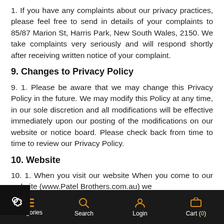1. If you have any complaints about our privacy practices, please feel free to send in details of your complaints to 85/87 Marion St, Harris Park, New South Wales, 2150. We take complaints very seriously and will respond shortly after receiving written notice of your complaint.
9. Changes to Privacy Policy
9. 1. Please be aware that we may change this Privacy Policy in the future. We may modify this Policy at any time, in our sole discretion and all modifications will be effective immediately upon our posting of the modifications on our website or notice board. Please check back from time to time to review our Privacy Policy.
10. Website
10. 1. When you visit our website When you come to our website (www.Patel Brothers.com.au) we
Categories   Search   Login   Cart (0)